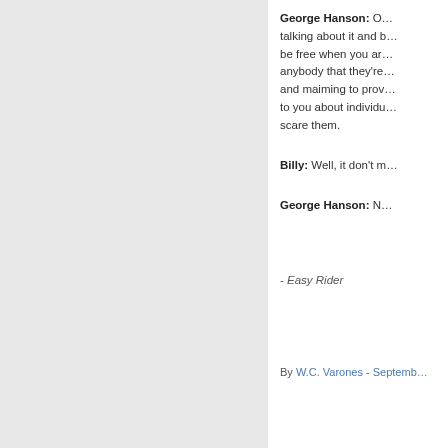George Hanson: Oh, yeah, that's right, that's what's it's all about, talking about it and being ... Oh, you know what, you almost gotta be free when you are talking about it, because then you would tell anybody that they're not free. And I mean, it'll scare you. It's bought and maiming to prove to you that they are. Oh, yeah, they talk to you about individual freedom, but they see a free individual, it's gonna scare them.
Billy: Well, it don't m...
George Hanson: N...
- Easy Rider
By W.C. Varones - Septemb...